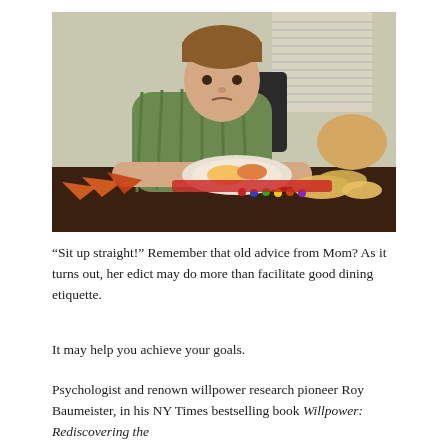[Figure (photo): A young boy with brown hair wearing a green striped shirt, lying with his arms on a table covered with junk food including chips, candy, and a plate of food, looking directly at the camera with a neutral/sad expression.]
“Sit up straight!” Remember that old advice from Mom? As it turns out, her edict may do more than facilitate good dining etiquette.
It may help you achieve your goals.
Psychologist and renown willpower research pioneer Roy Baumeister, in his NY Times bestselling book Willpower: Rediscovering the